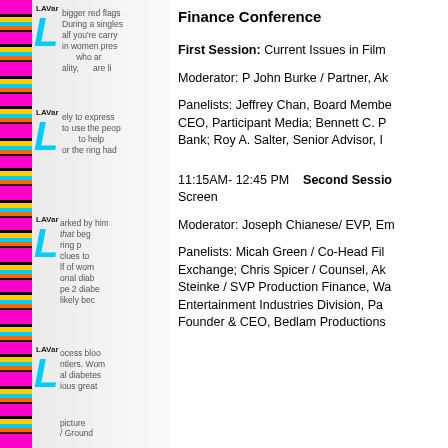[Figure (illustration): Decorative left column with colorful magazine strip featuring cyan large italic L letters and LAVar labels repeating, overlaid with faded article text about red flags, women, singles, diabetes topics.]
Finance Conference
First Session: Current Issues in Film
Moderator: P John Burke / Partner, Ak
Panelists: Jeffrey Chan, Board Member; CEO, Participant Media; Bennett C. P Bank; Roy A. Salter, Senior Advisor, I
11:15AM- 12:45 PM    Second Session Screen
Moderator: Joseph Chianese/ EVP, Em
Panelists: Micah Green / Co-Head Film Exchange; Chris Spicer / Counsel, Ak Steinke / SVP Production Finance, Wa Entertainment Industries Division, Pa Founder & CEO, Bedlam Productions